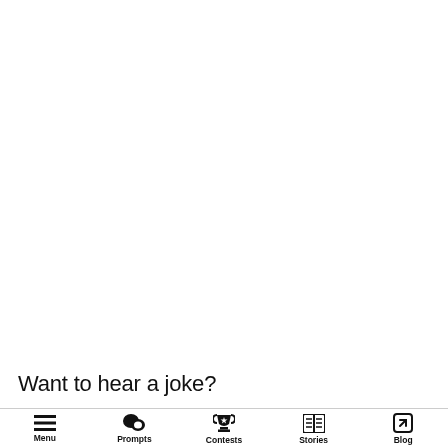Want to hear a joke?
Menu | Prompts | Contests | Stories | Blog